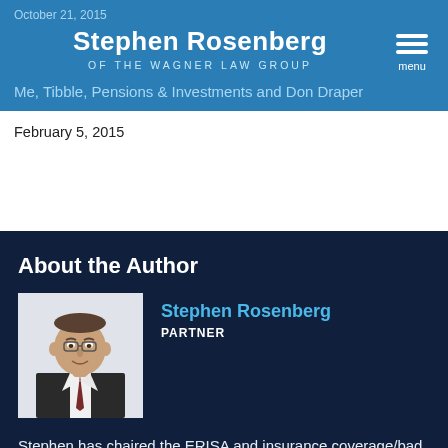October 21, 2015
Stephen Rosenberg OF THE WAGNER LAW GROUP
Me, Tibble, Pensions & Investments and Don Draper
February 5, 2015
About the Author
[Figure (photo): Professional headshot of Stephen Rosenberg in a dark suit with tie, against a white/light background]
Stephen Rosenberg
PARTNER
Stephen has chaired the ERISA and insurance coverage/bad faith litigation practices at two Boston firms, and has practiced extensively in commercial litigation for nearly 30...
Show more ∨